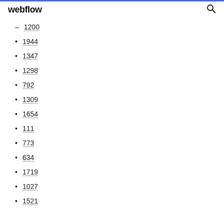webflow
1200
1944
1347
1298
792
1309
1654
111
773
634
1719
1027
1521